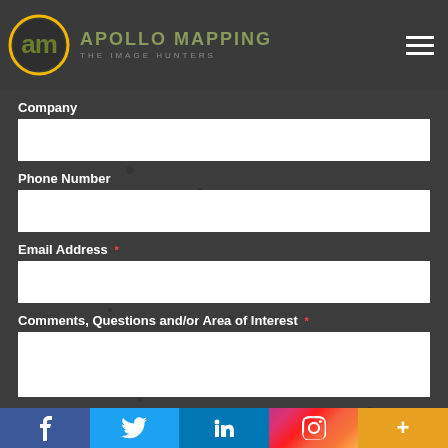[Figure (logo): Apollo Mapping logo with circular 'am' icon in yellow/olive green and text 'APOLLO MAPPING / THE IMAGE HUNTERS']
Company
Phone Number
Email Address *
Comments, Questions and/or Area of Interest *
[Figure (infographic): Social media footer bar with Facebook, Twitter, LinkedIn, Instagram, and More (+) buttons]